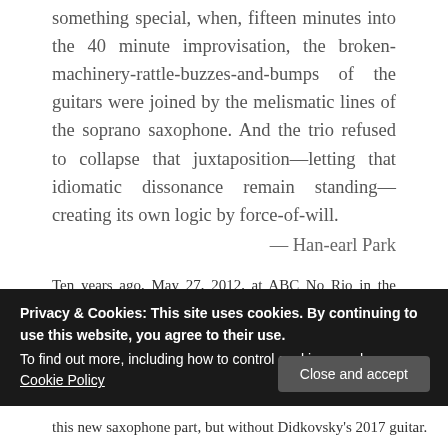something special, when, fifteen minutes into the 40 minute improvisation, the broken-machinery-rattle-buzzes-and-bumps of the guitars were joined by the melismatic lines of the soprano saxophone. And the trio refused to collapse that juxtaposition—letting that idiomatic dissonance remain standing—creating its own logic by force-of-will.
— Han-earl Park
Ten years ago, May 27, 2012, at ABC No Rio in the Lower East Side, Han-earl Park, Catherine Sikora and Nick Didkovsky took the stage for the first time as a trio. Before the events of 2020, the plan had been for the trio, after the release of a new album, to go on tour. But, as the rogue piece of genetic
Privacy & Cookies: This site uses cookies. By continuing to use this website, you agree to their use. To find out more, including how to control cookies, see here: Cookie Policy
Close and accept
this new saxophone part, but without Didkovsky's 2017 guitar.